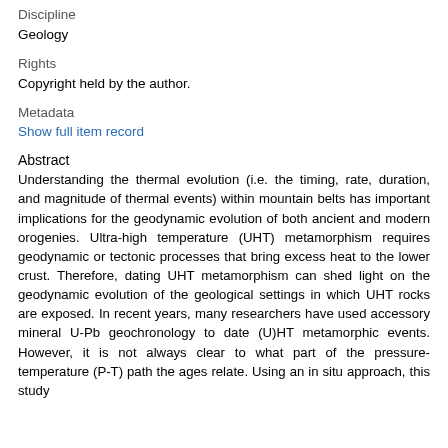Discipline
Geology
Rights
Copyright held by the author.
Metadata
Show full item record
Abstract
Understanding the thermal evolution (i.e. the timing, rate, duration, and magnitude of thermal events) within mountain belts has important implications for the geodynamic evolution of both ancient and modern orogenies. Ultra-high temperature (UHT) metamorphism requires geodynamic or tectonic processes that bring excess heat to the lower crust. Therefore, dating UHT metamorphism can shed light on the geodynamic evolution of the geological settings in which UHT rocks are exposed. In recent years, many researchers have used accessory mineral U-Pb geochronology to date (U)HT metamorphic events. However, it is not always clear to what part of the pressure-temperature (P-T) path the ages relate. Using an in situ approach, this study combines accessory mineral U-Pb geochronology with mineral